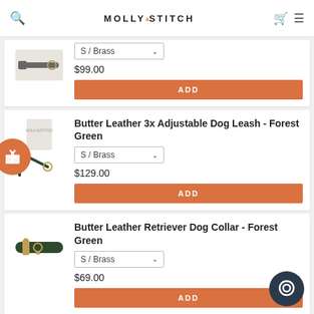MOLLY AND STITCH
[Figure (screenshot): Partial product card showing a dog leash product image with S/Brass dropdown, $99.00 price, and ADD button]
[Figure (screenshot): Product card: Butter Leather 3x Adjustable Dog Leash - Forest Green, S/Brass dropdown, $129.00 price, ADD button, with orange gift badge]
Butter Leather 3x Adjustable Dog Leash - Forest Green
S / Brass
$129.00
[Figure (screenshot): Product card: Butter Leather Retriever Dog Collar - Forest Green, S/Brass dropdown, $69.00 price, with chat bubble icon]
Butter Leather Retriever Dog Collar - Forest Green
S / Brass
$69.00